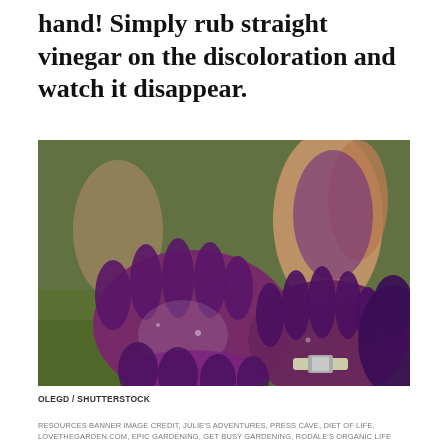hand! Simply rub straight vinegar on the discoloration and watch it disappear.
[Figure (photo): Multiple pairs of hands stained purple/dark from berry juice, held open and facing up, showing the discoloration on palms and fingers. People are standing on green grass.]
OLEGD / SHUTTERSTOCK
RESOURCES BANNER IMAGE CREDIT, JULIE'S ADVENTURES, PRESS CAVE, DIET OF LIFE, LOVETHEGARDEN.COM, EPIC GARDENING, GET BUSY GARDENING, RODALE'S ORGANIC LIFE